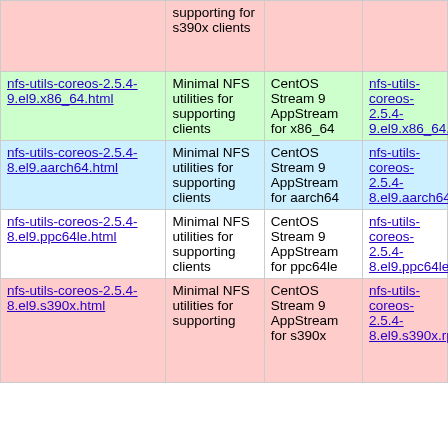| Package | Description | Repo | Download |
| --- | --- | --- | --- |
| [truncated top] | supporting for s390x clients |  |  |
| nfs-utils-coreos-2.5.4-9.el9.x86_64.html | Minimal NFS utilities for supporting clients | CentOS Stream 9 AppStream for x86_64 | nfs-utils-coreos-2.5.4-9.el9.x86_64.rpm |
| nfs-utils-coreos-2.5.4-8.el9.aarch64.html | Minimal NFS utilities for supporting clients | CentOS Stream 9 AppStream for aarch64 | nfs-utils-coreos-2.5.4-8.el9.aarch64.rpm |
| nfs-utils-coreos-2.5.4-8.el9.ppc64le.html | Minimal NFS utilities for supporting clients | CentOS Stream 9 AppStream for ppc64le | nfs-utils-coreos-2.5.4-8.el9.ppc64le.rpm |
| nfs-utils-coreos-2.5.4-8.el9.s390x.html | Minimal NFS utilities for supporting clients | CentOS Stream 9 AppStream for s390x | nfs-utils-coreos-2.5.4-8.el9.s390x.rpm |